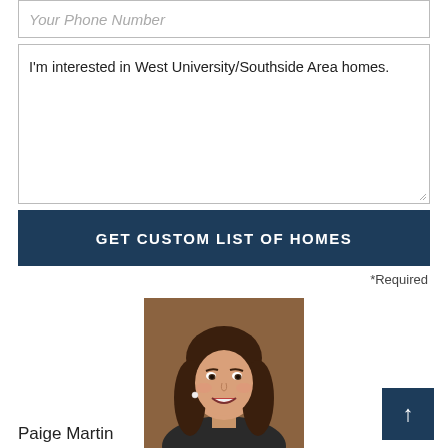Your Phone Number
I'm interested in West University/Southside Area homes.
GET CUSTOM LIST OF HOMES
*Required
[Figure (photo): Headshot of Paige Martin, a woman with long brown hair smiling, wearing professional attire]
Paige Martin